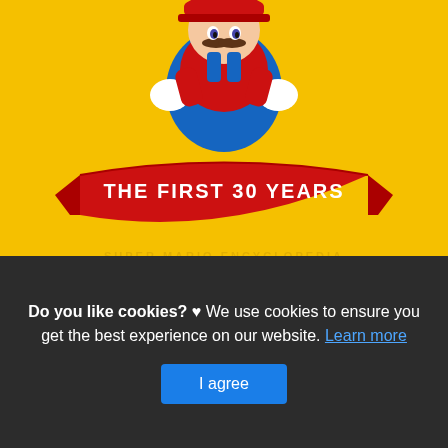[Figure (illustration): Book cover of Super Mario Bros Encyclopedia: The Official Guide. Yellow background with Mario character at top and a red ribbon banner reading 'THE FIRST 30 YEARS'. Blue bold text at bottom reads 'THE OFFICIAL GUIDE'.]
Super Mario Bros Encyclopedia Super Mario Wiki the
This is actually a write-up or even graphic around the Super
Do you like cookies? ♥ We use cookies to ensure you get the best experience on our website. Learn more
I agree